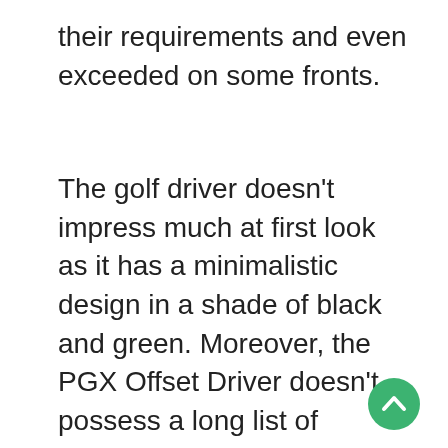their requirements and even exceeded on some fronts.
The golf driver doesn't impress much at first look as it has a minimalistic design in a shade of black and green. Moreover, the PGX Offset Driver doesn't possess a long list of cutting-edge features like other brands. However, this club performs surprisingly well during action. The team spoke highly about the shot accuracy of this golf driver as it led to straighter and longer ball flights. There were some concerns about speed and spin issues, but we noticed a noticeable difference in precision.